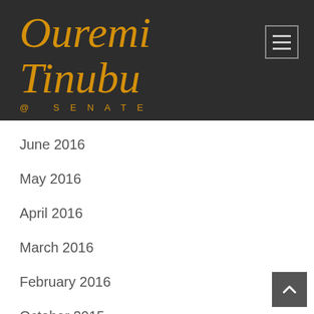Ouremi Tinubu @ SENATE
June 2016
May 2016
April 2016
March 2016
February 2016
October 2015
September 2015